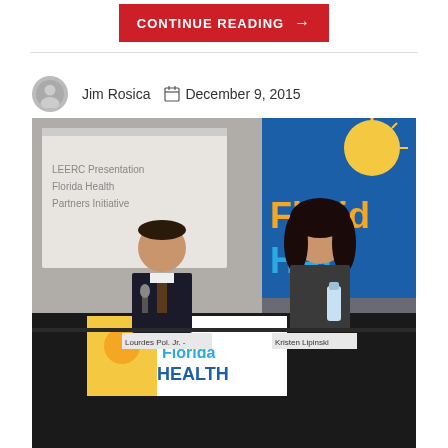CONTINUE READING →
Jim Rosica   December 9, 2015
[Figure (photo): Two people seated at a conference table with a Florida Health banner/logo visible in the foreground and on a display screen in the background. A whiteboard is visible on the left.]